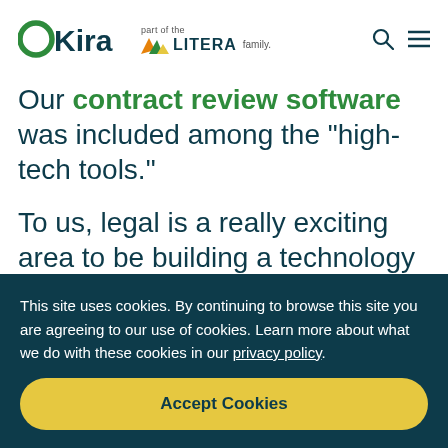OKira part of the LITERA family.
Our contract review software was included among the “high-tech tools.”
To us, legal is a really exciting area to be building a technology company in. Here
This site uses cookies. By continuing to browse this site you are agreeing to our use of cookies. Learn more about what we do with these cookies in our privacy policy.
Accept Cookies